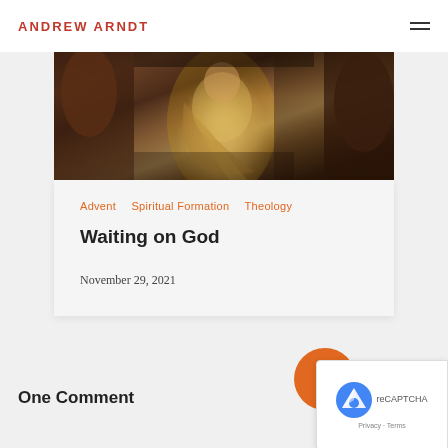ANDREW ARNDT
[Figure (photo): Partial view of a classical painting showing robed figures, warm brown and gold tones, likely a biblical or religious scene]
Advent   Spiritual Formation   Theology
Waiting on God
November 29, 2021
One Comment